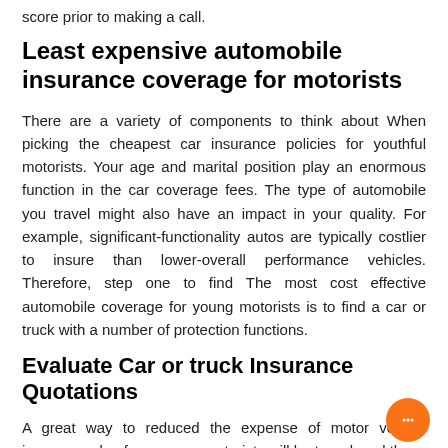score prior to making a call.
Least expensive automobile insurance coverage for motorists
There are a variety of components to think about When picking the cheapest car insurance policies for youthful motorists. Your age and marital position play an enormous function in the car coverage fees. The type of automobile you travel might also have an impact in your quality. For example, significant-functionality autos are typically costlier to insure than lower-overall performance vehicles. Therefore, step one to find The most cost effective automobile coverage for young motorists is to find a car or truck with a number of protection functions.
Evaluate Car or truck Insurance Quotations
A great way to reduced the expense of motor vehicle insurance plan for younger motorists will be to reduced the